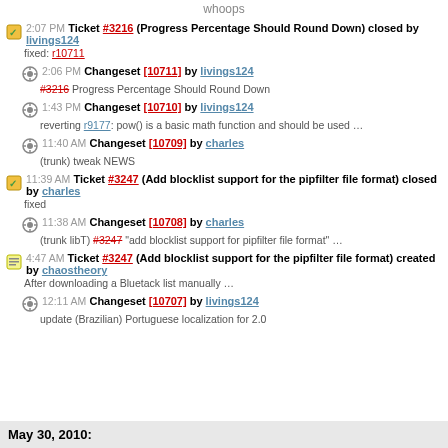whoops
2:07 PM Ticket #3216 (Progress Percentage Should Round Down) closed by livings124 — fixed: r10711
2:06 PM Changeset [10711] by livings124 — #3216 Progress Percentage Should Round Down
1:43 PM Changeset [10710] by livings124 — reverting r9177: pow() is a basic math function and should be used …
11:40 AM Changeset [10709] by charles — (trunk) tweak NEWS
11:39 AM Ticket #3247 (Add blocklist support for the pipfilter file format) closed by charles — fixed
11:38 AM Changeset [10708] by charles — (trunk libT) #3247 "add blocklist support for pipfilter file format" …
4:47 AM Ticket #3247 (Add blocklist support for the pipfilter file format) created by chaostheory — After downloading a Bluetack list manually …
12:11 AM Changeset [10707] by livings124 — update (Brazilian) Portuguese localization for 2.0
May 30, 2010: